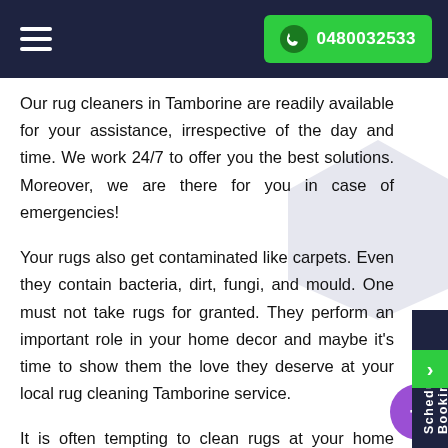0480032533
Our rug cleaners in Tamborine are readily available for your assistance, irrespective of the day and time. We work 24/7 to offer you the best solutions. Moreover, we are there for you in case of emergencies!
Your rugs also get contaminated like carpets. Even they contain bacteria, dirt, fungi, and mould. One must not take rugs for granted. They perform an important role in your home decor and maybe it's time to show them the love they deserve at your local rug cleaning Tamborine service.
It is often tempting to clean rugs at your home yourselves. But that could backfire. Cleaning rugs is not that easy because it can damage your rugs as they need gentle but effective cleaning to remove the entire dirt without ruining the delicate fabric. A professional rug cleaning in Tamborine with trained